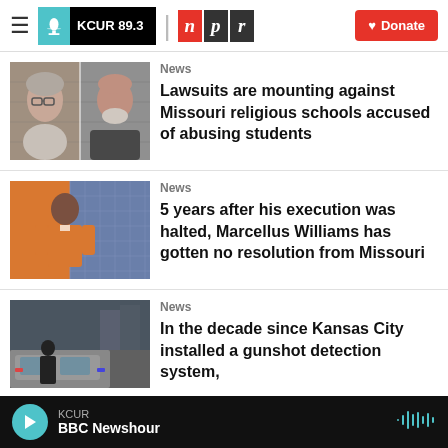KCUR 89.3 | npr | Donate
[Figure (photo): Two mugshot photos side by side: a woman with glasses and gray hair, and a bald man with a white beard]
News
Lawsuits are mounting against Missouri religious schools accused of abusing students
[Figure (illustration): Illustration of a Black man in an orange prison jumpsuit against a blue grid background]
News
5 years after his execution was halted, Marcellus Williams has gotten no resolution from Missouri
[Figure (photo): Photo of a police officer next to a police car on a city street]
News
In the decade since Kansas City installed a gunshot detection system,
KCUR  BBC Newshour